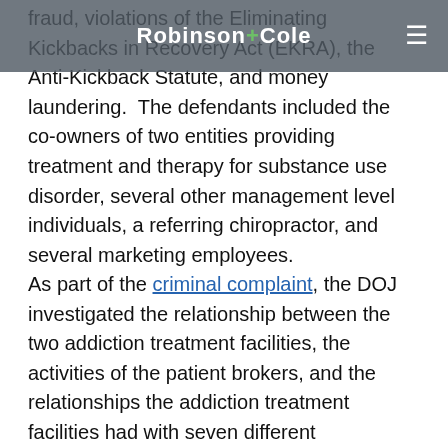Robinson+Cole
fraud, violations of the Eliminating Kickbacks in Recovery Act (EKRA), the Anti-Kickback Statute, and money laundering. The defendants included the co-owners of two entities providing treatment and therapy for substance use disorder, several other management level individuals, a referring chiropractor, and several marketing employees.
As part of the criminal complaint, the DOJ investigated the relationship between the two addiction treatment facilities, the activities of the patient brokers, and the relationships the addiction treatment facilities had with seven different laboratories. The criminal complaint alleged that patient brokers paid patients, offered them illegal drugs so they would be